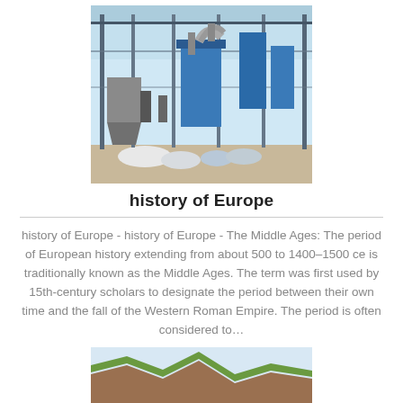[Figure (photo): Industrial facility with blue silos, metal framework, pipes and ductwork under a glass/metal roof structure, outdoor setting.]
history of Europe
history of Europe - history of Europe - The Middle Ages: The period of European history extending from about 500 to 1400–1500 ce is traditionally known as the Middle Ages. The term was first used by 15th-century scholars to designate the period between their own time and the fall of the Western Roman Empire. The period is often considered to…
[Figure (photo): Partial view of a rocky or earthen cliff/hillside with green grass on top, sky visible in background.]